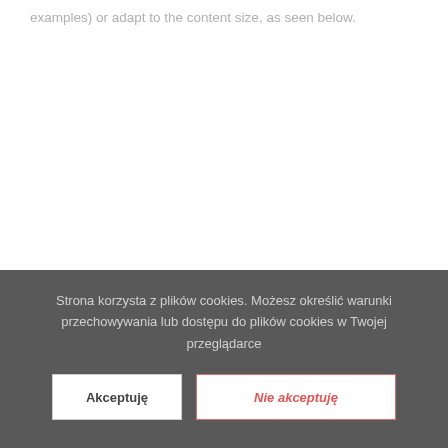examples) or adapt to the content size, as seen below.
Strona korzysta z plików cookies. Możesz określić warunki przechowywania lub dostępu do plików cookies w Twojej przeglądarce
Akceptuję
Nie akceptuję